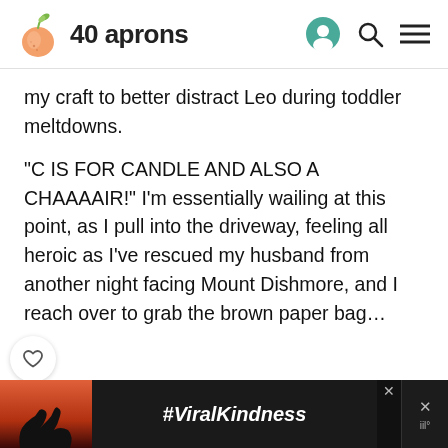40 aprons
my craft to better distract Leo during toddler meltdowns.
“C IS FOR CANDLE AND ALSO A CHAAAAIR!” I’m essentially wailing at this point, as I pull into the driveway, feeling all heroic as I’ve rescued my husband from another night facing Mount Dishmore, and I reach over to grab the brown paper bag…
[Figure (screenshot): Advertisement banner with hands forming a heart shape silhouette against a sunset background, with text #ViralKindness on dark background]